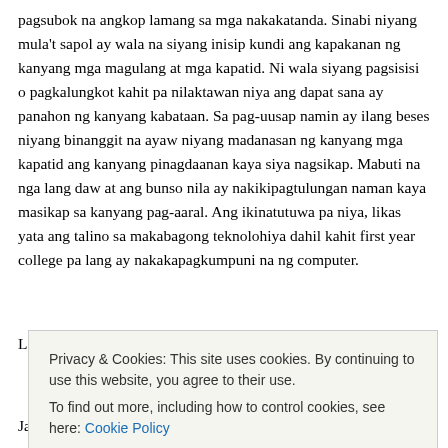pagsubok na angkop lamang sa mga nakakatanda. Sinabi niyang mula't sapol ay wala na siyang inisip kundi ang kapakanan ng kanyang mga magulang at mga kapatid. Ni wala siyang pagsisisi o pagkalungkot kahit pa nilaktawan niya ang dapat sana ay panahon ng kanyang kabataan. Sa pag-uusap namin ay ilang beses niyang binanggit na ayaw niyang madanasan ng kanyang mga kapatid ang kanyang pinagdaanan kaya siya nagsikap. Mabuti na nga lang daw at ang bunso nila ay nakikipagtulungan naman kaya masikap sa kanyang pag-aaral. Ang ikinatutuwa pa niya, likas yata ang talino sa makabagong teknolohiya dahil kahit first year college pa lang ay nakakapagkumpuni na ng computer.
Larawan ng kasiyahan si Herson habang nag-uusap kami.
Privacy & Cookies: This site uses cookies. By continuing to use this website, you agree to their use. To find out more, including how to control cookies, see here: Cookie Policy
Jaime Mayor na hindi nasilaw sa salaping naiwan ng turistang